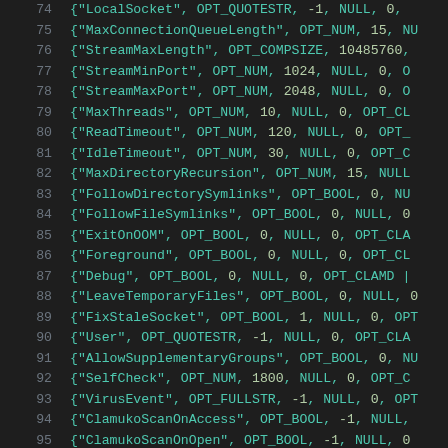Source code listing lines 74-95 showing configuration option entries
74    {"LocalSocket", OPT_QUOTESTR, -1, NULL, 0,
75    {"MaxConnectionQueueLength", OPT_NUM, 15, NU
76    {"StreamMaxLength", OPT_COMPSIZE, 10485760,
77    {"StreamMinPort", OPT_NUM, 1024, NULL, 0, O
78    {"StreamMaxPort", OPT_NUM, 2048, NULL, 0, O
79    {"MaxThreads", OPT_NUM, 10, NULL, 0, OPT_CL
80    {"ReadTimeout", OPT_NUM, 120, NULL, 0, OPT_
81    {"IdleTimeout", OPT_NUM, 30, NULL, 0, OPT_C
82    {"MaxDirectoryRecursion", OPT_NUM, 15, NULL
83    {"FollowDirectorySymlinks", OPT_BOOL, 0, NU
84    {"FollowFileSymlinks", OPT_BOOL, 0, NULL, 0
85    {"ExitOnOOM", OPT_BOOL, 0, NULL, 0, OPT_CLA
86    {"Foreground", OPT_BOOL, 0, NULL, 0, OPT_CL
87    {"Debug", OPT_BOOL, 0, NULL, 0, OPT_CLAMD |
88    {"LeaveTemporaryFiles", OPT_BOOL, 0, NULL, 0
89    {"FixStaleSocket", OPT_BOOL, 1, NULL, 0, OPT
90    {"User", OPT_QUOTESTR, -1, NULL, 0, OPT_CLA
91    {"AllowSupplementaryGroups", OPT_BOOL, 0, NU
92    {"SelfCheck", OPT_NUM, 1800, NULL, 0, OPT_C
93    {"VirusEvent", OPT_FULLSTR, -1, NULL, 0, OPT
94    {"ClamukoScanOnAccess", OPT_BOOL, -1, NULL,
95    {"ClamukoScanOnOpen", OPT_BOOL, -1, NULL, 0